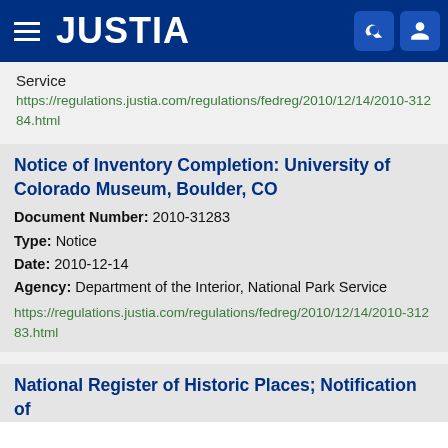[Figure (logo): Justia website header with hamburger menu, JUSTIA logo, search icon, and user icon on dark blue background]
Service
https://regulations.justia.com/regulations/fedreg/2010/12/14/2010-31284.html
Notice of Inventory Completion: University of Colorado Museum, Boulder, CO
Document Number: 2010-31283
Type: Notice
Date: 2010-12-14
Agency: Department of the Interior, National Park Service
https://regulations.justia.com/regulations/fedreg/2010/12/14/2010-31283.html
National Register of Historic Places; Notification of